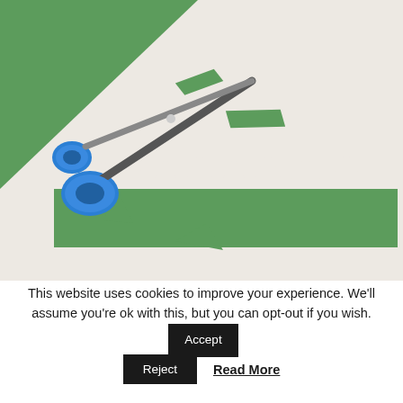[Figure (photo): Photo of blue scissors and cut green paper pieces including a strip with triangular teeth cut out, resembling grass or spikes, on a white surface with a large green paper sheet in the background.]
This website uses cookies to improve your experience. We'll assume you're ok with this, but you can opt-out if you wish.
Accept
Reject
Read More